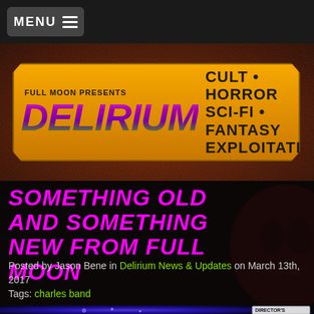MENU
[Figure (logo): Full Moon Presents Delirium magazine logo on orange ribbon banner. Tagline: Cult • Horror Sci-Fi • Fantasy Exploitation]
SOMETHING OLD AND SOMETHING NEW FROM FULL MOON
Posted by Jason Bene in Delirium News & Updates on March 13th, 2017
Tags: charles band
[Figure (screenshot): Bottom strip showing galaxy/space background with Director's Cut badge in lower right corner]